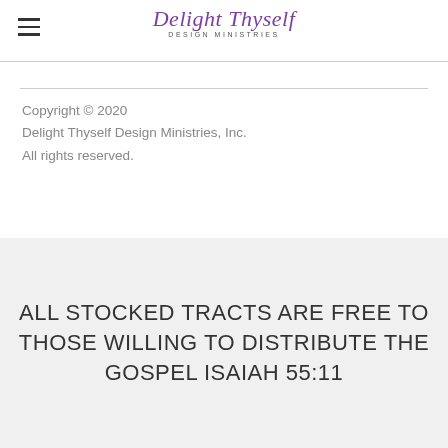[Figure (logo): Delight Thyself Design Ministries logo with script text in purple and smaller subtitle]
Copyright © 2020
Delight Thyself Design Ministries, Inc.
All rights reserved.
ALL STOCKED TRACTS ARE FREE TO THOSE WILLING TO DISTRIBUTE THE GOSPEL ISAIAH 55:11